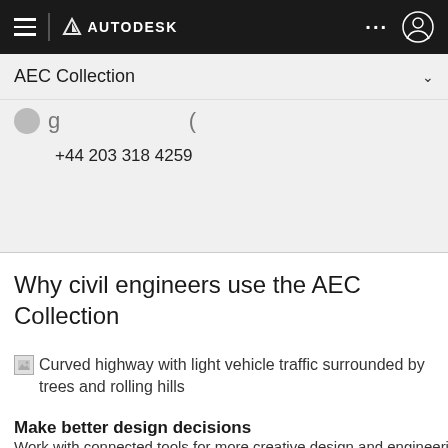≡ | AUTODESK ... (user icon)
AEC Collection
+44 203 318 4259
Why civil engineers use the AEC Collection
[Figure (photo): Curved highway with light vehicle traffic surrounded by trees and rolling hills]
Make better design decisions
Work with connected tools for more creative design and engineering...